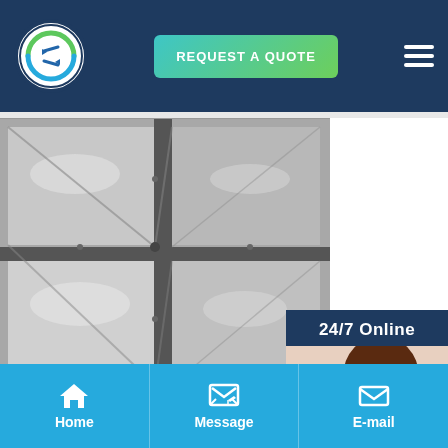[Figure (screenshot): Website header with logo, REQUEST A QUOTE button, and hamburger menu on dark navy background]
[Figure (photo): Black and white photo of dusty/dirty HVAC air duct interior showing metal duct channels from inside]
[Figure (infographic): 24/7 Online customer service widget with smiling woman wearing headset, 'Have any requests, click here.' text, and Quotation button]
[Figure (photo): Second photo strip showing outdoor HVAC or duct equipment on ground]
[Figure (screenshot): Bottom navigation bar with Home, Message, and E-mail icons on blue background]